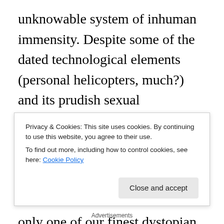unknowable system of inhuman immensity. Despite some of the dated technological elements (personal helicopters, much?) and its prudish sexual misapprehensions, the invocation of not only the defining post-modern malaise but also of the impossibility of resisting it makes Brave New World not only one of our finest dystopian novels, but one of our most penetrating philosophical satires as well. As emotionally and psychological untenable as the Fordian system is to the philosophic individual, resistance to it is similarly fraught. The chains are unbearable, but the idea of picking the locks with flowers or none or
Privacy & Cookies: This site uses cookies. By continuing to use this website, you agree to their use.
To find out more, including how to control cookies, see here: Cookie Policy
Advertisements